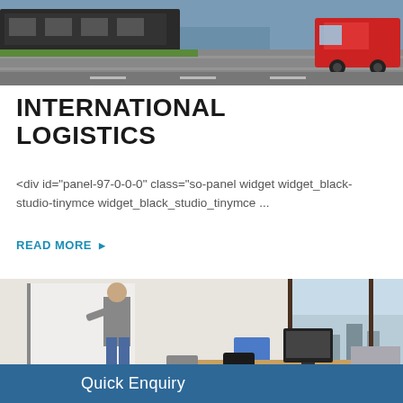[Figure (photo): Logistics photo showing a train and a red truck on a road near water]
INTERNATIONAL LOGISTICS
<div id="panel-97-0-0-0" class="so-panel widget widget_black-studio-tinymce widget_black_studio_tinymce ...
READ MORE ▶
[Figure (photo): Office photo showing a man standing near a whiteboard, office desks with monitors and a city view through large windows]
Quick Enquiry